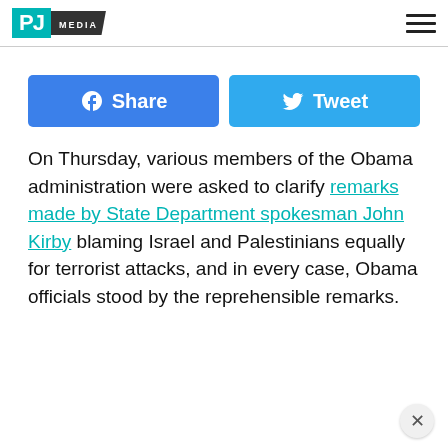PJ MEDIA
[Figure (other): Facebook Share button and Twitter Tweet button side by side]
On Thursday, various members of the Obama administration were asked to clarify remarks made by State Department spokesman John Kirby blaming Israel and Palestinians equally for terrorist attacks, and in every case, Obama officials stood by the reprehensible remarks.